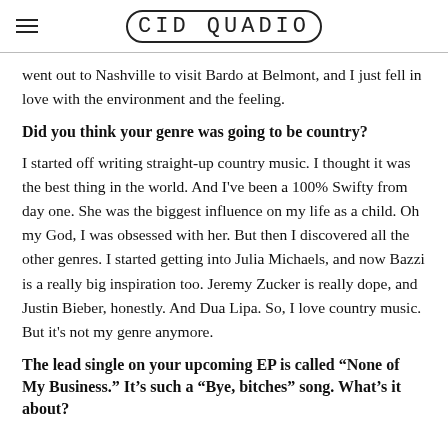CID QUADIC
went out to Nashville to visit Bardo at Belmont, and I just fell in love with the environment and the feeling.
Did you think your genre was going to be country?
I started off writing straight-up country music. I thought it was the best thing in the world. And I've been a 100% Swifty from day one. She was the biggest influence on my life as a child. Oh my God, I was obsessed with her. But then I discovered all the other genres. I started getting into Julia Michaels, and now Bazzi is a really big inspiration too. Jeremy Zucker is really dope, and Justin Bieber, honestly. And Dua Lipa. So, I love country music. But it's not my genre anymore.
The lead single on your upcoming EP is called “None of My Business.” It’s such a “Bye, bitches” song. What’s it about?